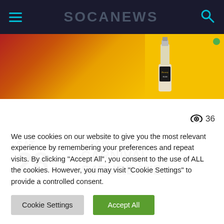SOCANEWS
[Figure (photo): Advertisement banner showing Bounty Rum bottle against yellow and orange/red decorative background]
36
SAT
28
JUST IN CARNIVAL
CARNIVAL SATURDAYZ
We use cookies on our website to give you the most relevant experience by remembering your preferences and repeat visits. By clicking "Accept All", you consent to the use of ALL the cookies. However, you may visit "Cookie Settings" to provide a controlled consent.